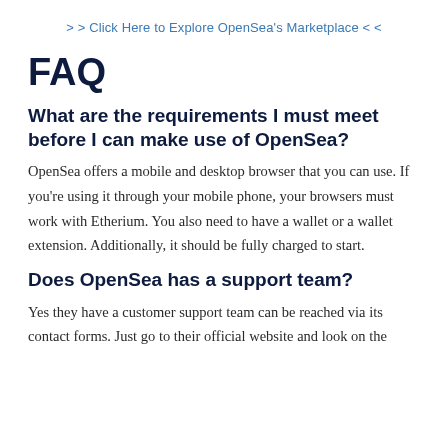> > Click Here to Explore OpenSea's Marketplace < <
FAQ
What are the requirements I must meet before I can make use of OpenSea?
OpenSea offers a mobile and desktop browser that you can use. If you're using it through your mobile phone, your browsers must work with Etherium. You also need to have a wallet or a wallet extension. Additionally, it should be fully charged to start.
Does OpenSea has a support team?
Yes they have a customer support team can be reached via its contact forms. Just go to their official website and look on the